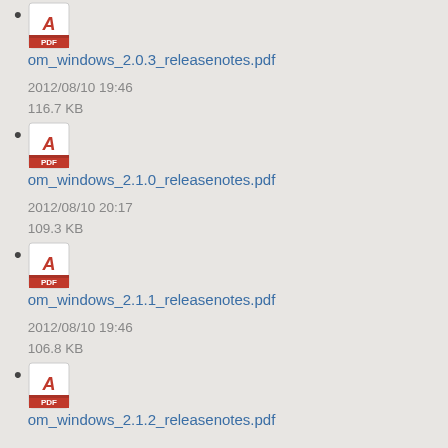om_windows_2.0.3_releasenotes.pdf
2012/08/10 19:46
116.7 KB
om_windows_2.1.0_releasenotes.pdf
2012/08/10 20:17
109.3 KB
om_windows_2.1.1_releasenotes.pdf
2012/08/10 19:46
106.8 KB
om_windows_2.1.2_releasenotes.pdf